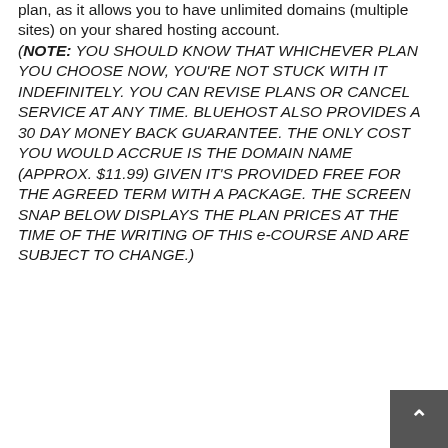plan, as it allows you to have unlimited domains (multiple sites) on your shared hosting account. (NOTE: YOU SHOULD KNOW THAT WHICHEVER PLAN YOU CHOOSE NOW, YOU'RE NOT STUCK WITH IT INDEFINITELY. YOU CAN REVISE PLANS OR CANCEL SERVICE AT ANY TIME. BLUEHOST ALSO PROVIDES A 30 DAY MONEY BACK GUARANTEE. THE ONLY COST YOU WOULD ACCRUE IS THE DOMAIN NAME (APPROX. $11.99) GIVEN IT'S PROVIDED FREE FOR THE AGREED TERM WITH A PACKAGE. THE SCREEN SNAP BELOW DISPLAYS THE PLAN PRICES AT THE TIME OF THE WRITING OF THIS e-COURSE AND ARE SUBJECT TO CHANGE.)